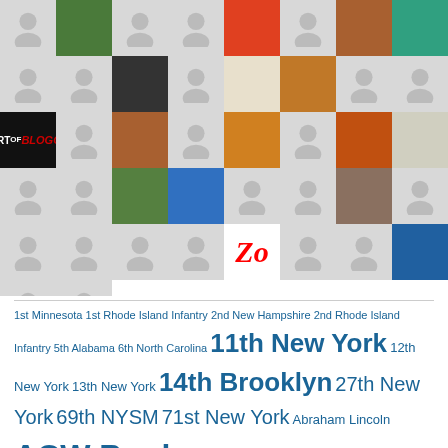[Figure (other): Grid of user avatar thumbnails — mix of default silhouette avatars and profile photos, with a red 'Zo' text cell and an 'Art of Blogging' book cover cell]
1st Minnesota  1st Rhode Island Infantry  2nd New Hampshire  2nd Rhode Island Infantry  5th Alabama  6th North Carolina  11th New York  12th New York  13th New York  14th Brooklyn  27th New York  69th NYSM  71st New York  Abraham Lincoln  ACW Books  After Action